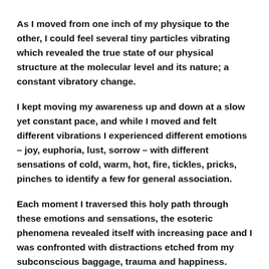As I moved from one inch of my physique to the other, I could feel several tiny particles vibrating which revealed the true state of our physical structure at the molecular level and its nature; a constant vibratory change.
I kept moving my awareness up and down at a slow yet constant pace, and while I moved and felt different vibrations I experienced different emotions – joy, euphoria, lust, sorrow – with different sensations of cold, warm, hot, fire, tickles, pricks, pinches to identify a few for general association.
Each moment I traversed this holy path through these emotions and sensations, the esoteric phenomena revealed itself with increasing pace and I was confronted with distractions etched from my subconscious baggage, trauma and happiness.